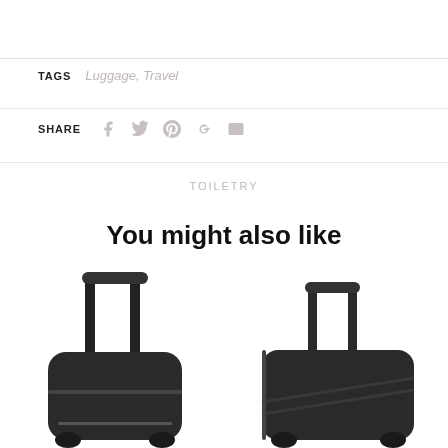TAGS  Luggage, Travel
SHARE
TOILETRY
You might also like
[Figure (photo): Two black roller luggage suitcases side by side]
[Figure (photo): Black roller suitcase on right side]